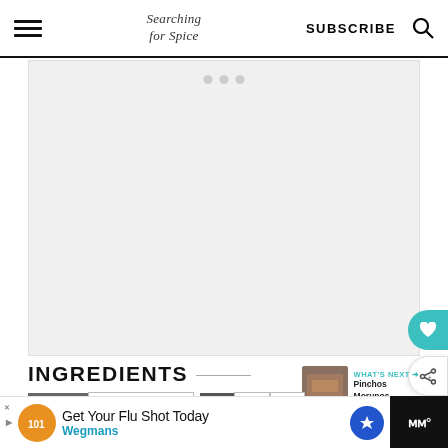Searching for Spice | SUBSCRIBE
[Figure (photo): Large placeholder/loading image area with light gray background, centered page content area]
INGREDIENTS
Metric | US Customary | 1x | 2x | 3x
[Figure (infographic): What's Next banner with thumbnail of Pinchos Morunos recipe and teal arrow]
Get Your Flu Shot Today Wegmans [advertisement]